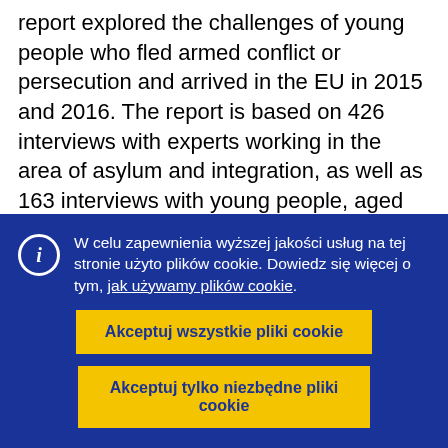report explored the challenges of young people who fled armed conflict or persecution and arrived in the EU in 2015 and 2016. The report is based on 426 interviews with experts working in the area of asylum and integration, as well as 163 interviews with young people, aged 16 to 24, conducted between October 2017 and June 2018 in 15 regions and cities located in six Member States: Austria, France, Germany, Greece, Italy and Sweden. The links on this page provide a summary of the information collected during this period for each country about unaccompanied
W celu zapewnienia wyższej jakości usług na tej stronie użyto plików cookie. Dowiedz się więcej o tym, jak używamy plików cookie.
Akceptuj wszystkie pliki cookie
Akceptuj tylko niezbędne pliki cookie